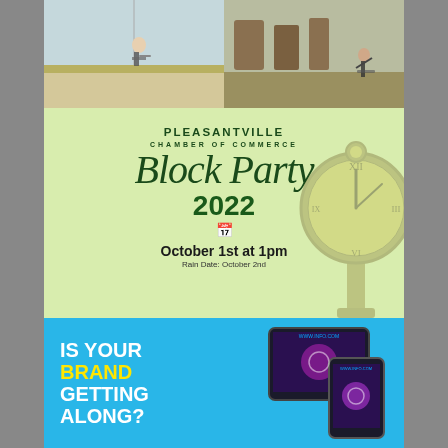[Figure (photo): Two photos side by side: left shows a person playing tennis on an outdoor court; right shows people doing yoga/stretching in a gym with equipment in the background.]
[Figure (infographic): Pleasantville Chamber of Commerce Block Party 2022 event flyer. Light green background with a vintage clock graphic on the right. Text reads: PLEASANTVILLE CHAMBER OF COMMERCE, Block Party (in script), 2022, calendar icon, October 1st at 1pm, Rain Date: October 2nd.]
[Figure (infographic): Blue advertisement banner with text: IS YOUR BRAND (in yellow) GETTING ALONG? with images of digital devices (tablet and phone) showing a website/app on the right side.]